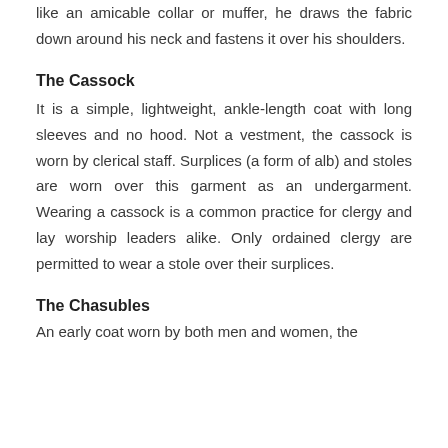like an amicable collar or muffer, he draws the fabric down around his neck and fastens it over his shoulders.
The Cassock
It is a simple, lightweight, ankle-length coat with long sleeves and no hood. Not a vestment, the cassock is worn by clerical staff. Surplices (a form of alb) and stoles are worn over this garment as an undergarment. Wearing a cassock is a common practice for clergy and lay worship leaders alike. Only ordained clergy are permitted to wear a stole over their surplices.
The Chasubles
An early coat worn by both men and women, the